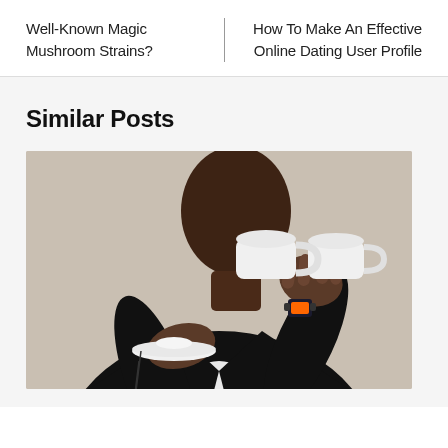Well-Known Magic Mushroom Strains?
How To Make An Effective Online Dating User Profile
Similar Posts
[Figure (photo): A man in a black blazer and white shirt drinking from a white cup and saucer, wearing a smartwatch]